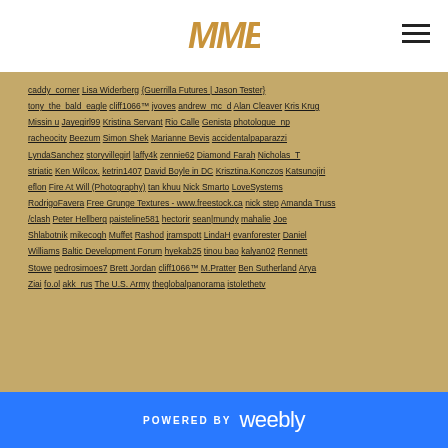MMB logo and navigation menu
caddy_corner Lisa Widerberg {Guerrilla Futures | Jason Tester} tony_the_bald_eagle cliff1066™ jvoves andrew_mc_d Alan Cleaver Kris Krug Missin u Jayegirl99 Kristina Servant Rio Calle Genista photologue_np racheocity Beezum Simon Shek Marianne Bevis accidentalpaparazzi LyndaSanchez storyvillegirl laffy4k zennie62 Diamond Farah Nicholas_T striatic Ken Wilcox. ketrin1407 David Boyle in DC Krisztina.Konczos Katsunojiri eflon Fire At Will (Photography) tan khuu Nick Smarto LoveSystems RodrigoFavera Free Grunge Textures - www.freestock.ca nick step Amanda Truss /clash Peter Hellberg paisteline581 hectorir sean|mundy mahalie Joe Shlabotnik mikecogh Muffet Rashod jramspott LindaH evanforester Daniel Williams Baltic Development Forum hyekab25 tinou bao kalyan02 Rennett Stowe pedrosimoes7 Brett Jordan cliff1066™ M.Pratter Ben Sutherland Arya Ziai fo.ol akk_rus The U.S. Army theglobalpanorama istolethetv
POWERED BY weebly